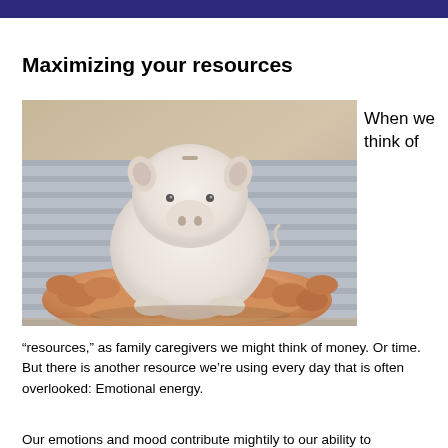Maximizing your resources
[Figure (photo): Person holding a white ceramic piggy bank in both hands, wearing a striped shirt]
When we think of
“resources,” as family caregivers we might think of money. Or time. But there is another resource we’re using every day that is often overlooked: Emotional energy.
Our emotions and mood contribute mightily to our ability to